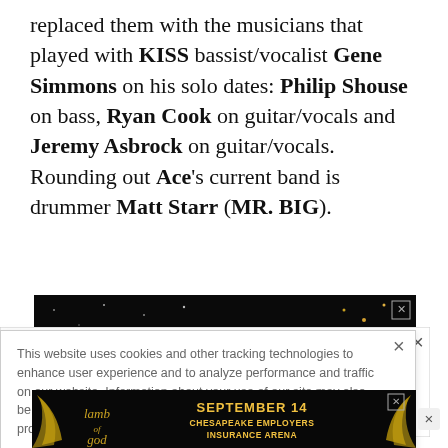replaced them with the musicians that played with KISS bassist/vocalist Gene Simmons on his solo dates: Philip Shouse on bass, Ryan Cook on guitar/vocals and Jeremy Asbrock on guitar/vocals. Rounding out Ace's current band is drummer Matt Starr (MR. BIG).
[Figure (screenshot): Dark advertisement banner for 'The Omens Tour' with text and decorative elements on black background with an X close button]
[Figure (screenshot): Cookie consent banner: 'This website uses cookies and other tracking technologies to enhance user experience and to analyze performance and traffic on our website. Information about your use of our site may also be shared with social media, advertising, retail and analytics providers and partners. Privacy Policy' with X close button]
[Figure (screenshot): Advertisement banner for Lamb of God: SEPTEMBER 14, CHESAPEAKE EMPLOYERS INSURANCE ARENA with gold decorative elements on black background]